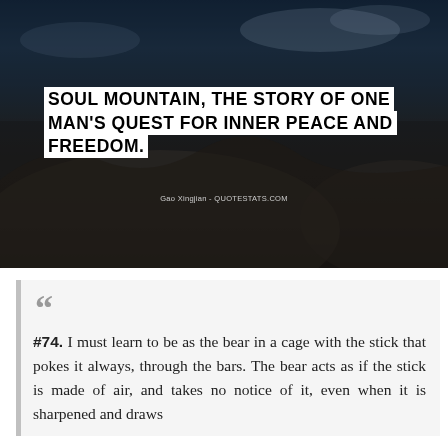[Figure (photo): Dark atmospheric photo of a mountain/rocky landscape with cloudy blue sky, used as background for a quote card]
SOUL MOUNTAIN, THE STORY OF ONE MAN'S QUEST FOR INNER PEACE AND FREEDOM.
Gao Xingjian - QUOTESTATS.COM
#74. I must learn to be as the bear in a cage with the stick that pokes it always, through the bars. The bear acts as if the stick is made of air, and takes no notice of it, even when it is sharpened and draws